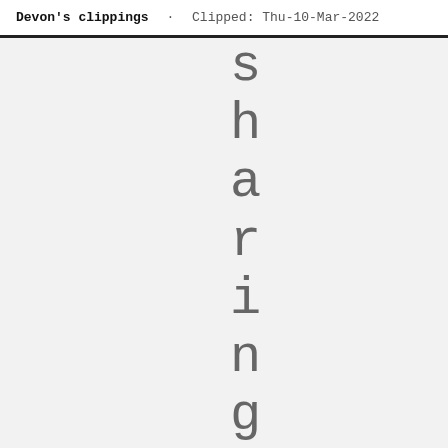Devon's clippings · Clipped: Thu-10-Mar-2022
sharingsoci